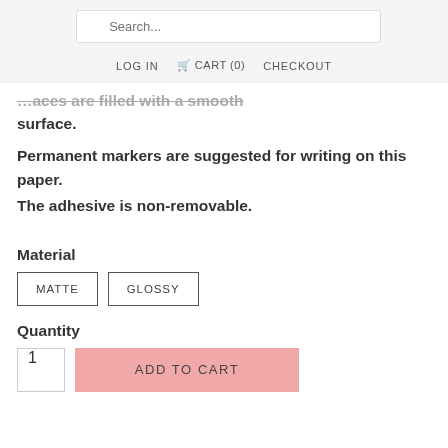Search... LOG IN CART (0) CHECKOUT
...aces are filled with a smooth surface.
Permanent markers are suggested for writing on this paper. The adhesive is non-removable.
Material
MATTE   GLOSSY
Quantity
1   ADD TO CART